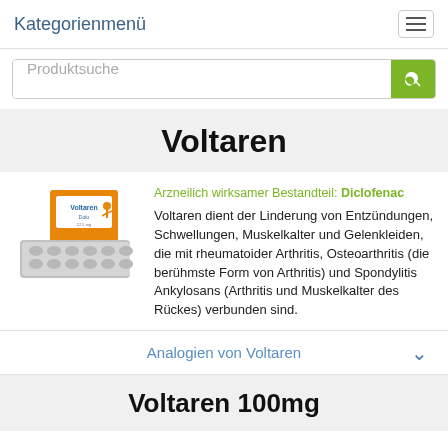Kategorienmenü
Produktsuche
Voltaren
[Figure (photo): Voltaren Dolo product packaging — orange and white pill box with blister packs in front]
Arzneilich wirksamer Bestandteil: Diclofenac
Voltaren dient der Linderung von Entzündungen, Schwellungen, Muskelkalter und Gelenkleiden, die mit rheumatoider Arthritis, Osteoarthritis (die berühmste Form von Arthritis) und Spondylitis Ankylosans (Arthritis und Muskelkalter des Rückes) verbunden sind.
Analogien von Voltaren
Voltaren 100mg